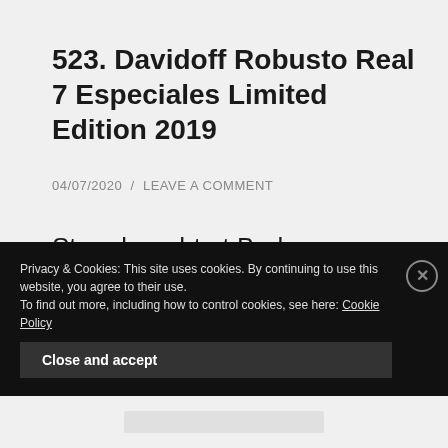523. Davidoff Robusto Real 7 Especiales Limited Edition 2019
04/07/2020  /  LEAVE A COMMENT
Store bought at Brobergs. Location: This review was made indoors in Mellgrens Fine Tobacco's cigar lounge. Information:Wrapper:
Privacy & Cookies: This site uses cookies. By continuing to use this website, you agree to their use.
To find out more, including how to control cookies, see here: Cookie Policy
Close and accept